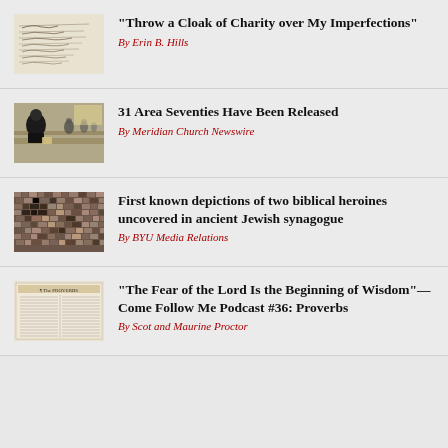[Figure (photo): Handwritten letter or manuscript with cursive script]
“Throw a Cloak of Charity over My Imperfections”
By Erin B. Hills
[Figure (photo): Meeting room with people seated at tables, man in foreground reading]
31 Area Seventies Have Been Released
By Meridian Church Newswire
[Figure (photo): Ancient mosaic with stone tesserae depicting a figure]
First known depictions of two biblical heroines uncovered in ancient Jewish synagogue
By BYU Media Relations
[Figure (photo): Old printed page showing The Proverbs text]
“The Fear of the Lord Is the Beginning of Wisdom”—Come Follow Me Podcast #36: Proverbs
By Scot and Maurine Proctor